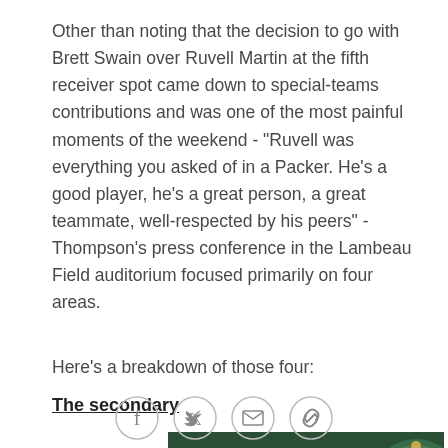Other than noting that the decision to go with Brett Swain over Ruvell Martin at the fifth receiver spot came down to special-teams contributions and was one of the most painful moments of the weekend - "Ruvell was everything you asked of in a Packer. He's a good player, he's a great person, a great teammate, well-respected by his peers" - Thompson's press conference in the Lambeau Field auditorium focused primarily on four areas.
Here's a breakdown of those four:
The secondary
[Figure (illustration): Dark green banner image with 'SIDELINE' text in large green bold italic letters and a Green Bay Packers cap visible on the right side]